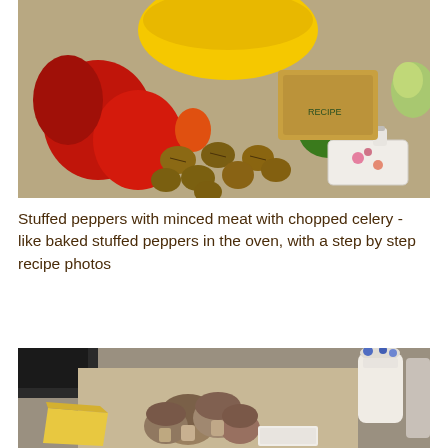[Figure (photo): Kitchen counter with ingredients: red bell peppers, walnuts, yellow mixing bowl, parsley, a butter dish, and packaged food items for stuffed peppers recipe.]
Stuffed peppers with minced meat with chopped celery - like baked stuffed peppers in the oven, with a step by step recipe photos
[Figure (photo): Kitchen counter with mushrooms, cheese, and other ingredients for a recipe, with a ceramic jug and blue flowers in the background.]